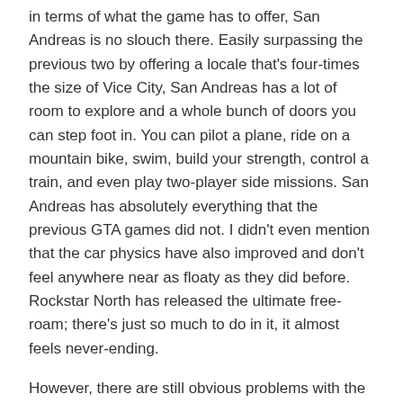in terms of what the game has to offer, San Andreas is no slouch there. Easily surpassing the previous two by offering a locale that's four-times the size of Vice City, San Andreas has a lot of room to explore and a whole bunch of doors you can step foot in. You can pilot a plane, ride on a mountain bike, swim, build your strength, control a train, and even play two-player side missions. San Andreas has absolutely everything that the previous GTA games did not. I didn't even mention that the car physics have also improved and don't feel anywhere near as floaty as they did before. Rockstar North has released the ultimate free-roam; there's just so much to do in it, it almost feels never-ending.
However, there are still obvious problems with the game. All of these features have to be earned (no, that's not the problem), which is expected of course. The problem is earning them. In order to earn the new stuff San Andreas has to offer, you have to play through the whole game's story and when playing through the game I couldn't help but find myself feeling pretty bored with the game's missions. Most of it all just felt way too similar to the previous installments of the game. Granted, there is some variety thrown in here and there in between missions, but it isn't enough to shake the feeling of repetitiveness. At this